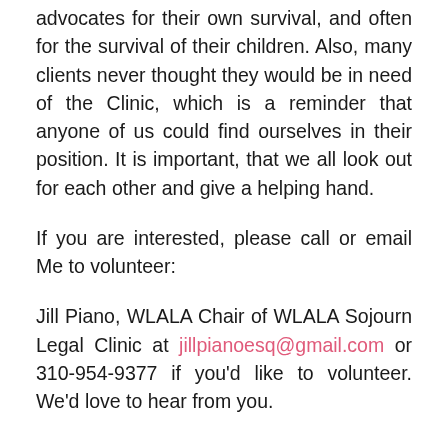advocates for their own survival, and often for the survival of their children. Also, many clients never thought they would be in need of the Clinic, which is a reminder that anyone of us could find ourselves in their position. It is important, that we all look out for each other and give a helping hand.
If you are interested, please call or email Me to volunteer:
Jill Piano, WLALA Chair of WLALA Sojourn Legal Clinic at jillpianoesq@gmail.com or 310-954-9377 if you'd like to volunteer. We'd love to hear from you.